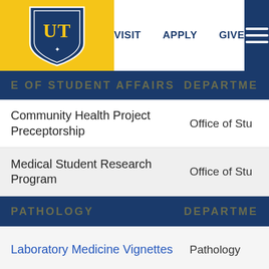[Figure (logo): University of Toledo shield logo on gold background]
VISIT   APPLY   GIVE
OFFICE OF STUDENT AFFAIRS   DEPARTME
|  |  |
| --- | --- |
| Community Health Project Preceptorship | Office of Stu |
| Medical Student Research Program | Office of Stu |
PATHOLOGY   DEPARTME
|  |  |
| --- | --- |
| Laboratory Medicine Vignettes | Pathology |
PEDIATRICS   DEPARTME